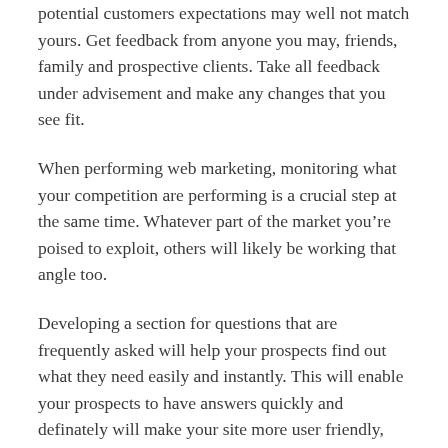potential customers expectations may well not match yours. Get feedback from anyone you may, friends, family and prospective clients. Take all feedback under advisement and make any changes that you see fit.
When performing web marketing, monitoring what your competition are performing is a crucial step at the same time. Whatever part of the market you’re poised to exploit, others will likely be working that angle too.
Developing a section for questions that are frequently asked will help your prospects find out what they need easily and instantly. This will enable your prospects to have answers quickly and definately will make your site more user friendly, generally speaking. This will heighten the likelihood that they may buy something of your stuff.
Consider developing a part of your internet site where people can view all your products. It’s great to give